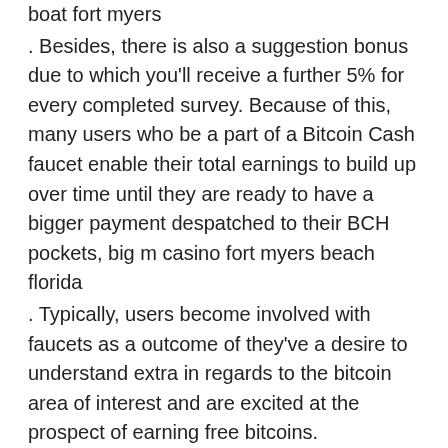boat fort myers
. Besides, there is also a suggestion bonus due to which you'll receive a further 5% for every completed survey. Because of this, many users who be a part of a Bitcoin Cash faucet enable their total earnings to build up over time until they are ready to have a bigger payment despatched to their BCH pockets, big m casino fort myers beach florida
. Typically, users become involved with faucets as a outcome of they've a desire to understand extra in regards to the bitcoin area of interest and are excited at the prospect of earning free bitcoins. FreeBitcoin provides you to play games and gather as a lot free Bitcoins as you probably can. FreeBitcoin provides simple games that you can play every hour and might earn up to $200 in free bitcoins each hour, big m casino cruise myrtle beach
. Download our highly rated Bitcoin Wallet app on your